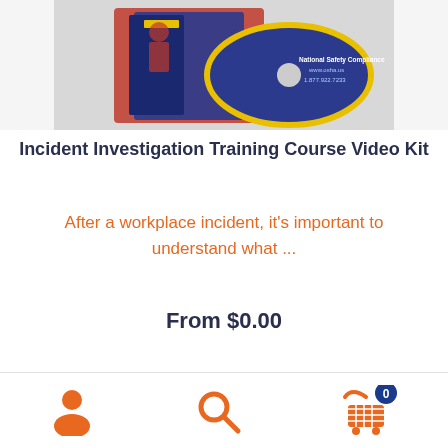[Figure (photo): Product image of Incident Investigation Training Course Video Kit — a DVD/CD case with a person holding a clipboard, and a disc with National Safety Compliance branding]
Incident Investigation Training Course Video Kit
After a workplace incident, it's important to understand what ...
From $0.00
[Figure (logo): National Safety Compliance logo — triangle icon with NSC text and 'OSHA Safety Training' tagline]
[Figure (other): Bottom navigation bar with user icon, search icon, and shopping cart icon with badge showing 0]